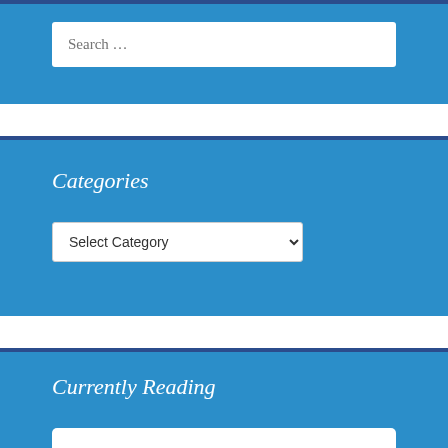[Figure (screenshot): Search widget with text input showing placeholder text 'Search ...' on a blue background]
Categories
[Figure (screenshot): Categories widget with a 'Select Category' dropdown select box on a blue background]
Currently Reading
[Figure (screenshot): Currently Reading widget with a white content box on a blue background, partially visible]